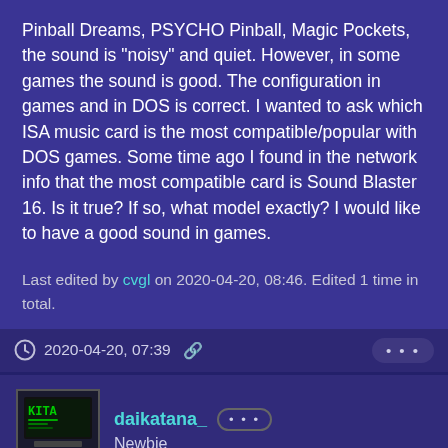Pinball Dreams, PSYCHO Pinball, Magic Pockets, the sound is "noisy" and quiet. However, in some games the sound is good. The configuration in games and in DOS is correct. I wanted to ask which ISA music card is the most compatible/popular with DOS games. Some time ago I found in the network info that the most compatible card is Sound Blaster 16. Is it true? If so, what model exactly? I would like to have a good sound in games.
Last edited by cvgl on 2020-04-20, 08:46. Edited 1 time in total.
2020-04-20, 07:39
daikatana_  Newbie
I'd say you're right, Sound Blaster 16 should work almost everywhere. I don't reckon it matters what model you use